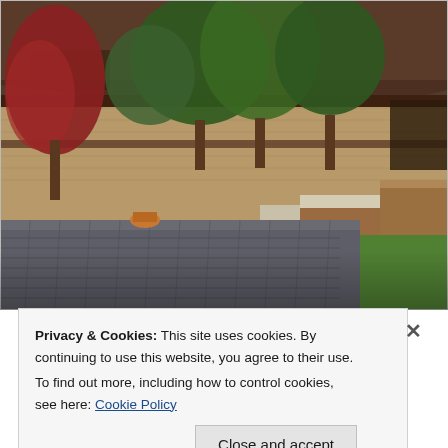[Figure (photo): Exterior photograph of a Prairie-style building with overhanging eaves, brick walls, large trees including red-leafed and green foliage, a cobblestone or brick paved driveway/path in the foreground, and a grass lawn. Warm afternoon sunlight. Appears to be Frank Lloyd Wright style architecture.]
Privacy & Cookies: This site uses cookies. By continuing to use this website, you agree to their use.
To find out more, including how to control cookies, see here: Cookie Policy
Close and accept